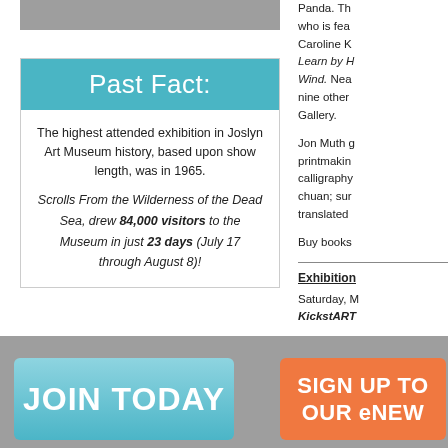[Figure (other): Gray image placeholder at top of left column]
Past Fact:
The highest attended exhibition in Joslyn Art Museum history, based upon show length, was in 1965.
Scrolls From the Wilderness of the Dead Sea, drew 84,000 visitors to the Museum in just 23 days (July 17 through August 8)!
Panda. The who is feat Caroline K Learn by H Wind. Nea nine other Gallery.
Jon Muth g printmakin calligraphy chuan; sur translated
Buy books
Exhibition
Saturday, KickstART
[Figure (other): JOIN TODAY button - teal/blue gradient button]
[Figure (other): SIGN UP TO OUR eNEW button - orange button]